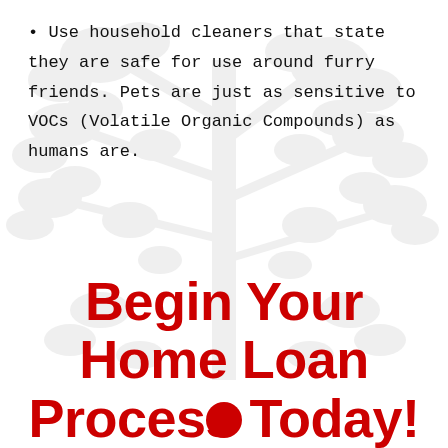• Use household cleaners that state they are safe for use around furry friends. Pets are just as sensitive to VOCs (Volatile Organic Compounds) as humans are.
[Figure (illustration): Faint grey decorative tree/foliage illustration as background watermark]
Begin Your Home Loan Process Today!